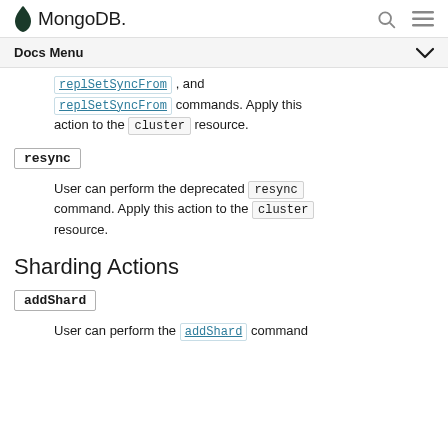MongoDB
replSetSyncFrom, and replSetSyncFrom commands. Apply this action to the cluster resource.
resync
User can perform the deprecated resync command. Apply this action to the cluster resource.
Sharding Actions
addShard
User can perform the addShard command